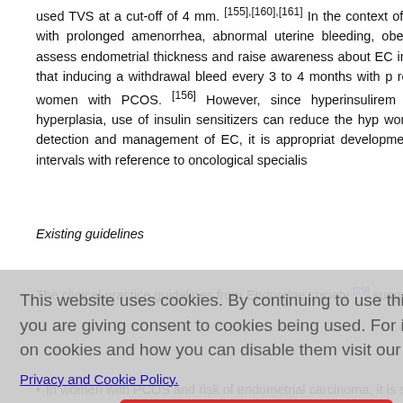used TVS at a cut-off of 4 mm. [155],[160],[161] In the context of increased risk patients with prolonged amenorrhea, abnormal uterine bleeding, obesity and/o essential to assess endometrial thickness and raise awareness about EC in these been established that inducing a withdrawal bleed every 3 to 4 months with p reduce the risk of EC in women with PCOS. [156] However, since hyperinsulinemi cause of endometrial hyperplasia, use of insulin sensitizers can reduce the hype women. Overall, for timely detection and management of EC, it is appropriat development of cancer at regular intervals with reference to oncological specialist
Existing guidelines
The clinical practice guidelines from Endocrine society [29] suggest against routi
[Figure (screenshot): Cookie consent overlay dialog box with text: 'This website uses cookies. By continuing to use this website you are giving consent to cookies being used. For information on cookies and how you can disable them visit our Privacy and Cookie Policy.' and an 'AGREE & PROCEED' button.]
In women with PCOS and risk of endometrial carcinoma, it is si